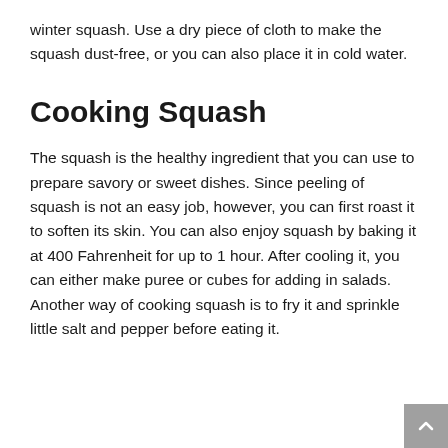winter squash. Use a dry piece of cloth to make the squash dust-free, or you can also place it in cold water.
Cooking Squash
The squash is the healthy ingredient that you can use to prepare savory or sweet dishes. Since peeling of squash is not an easy job, however, you can first roast it to soften its skin. You can also enjoy squash by baking it at 400 Fahrenheit for up to 1 hour. After cooling it, you can either make puree or cubes for adding in salads. Another way of cooking squash is to fry it and sprinkle little salt and pepper before eating it.